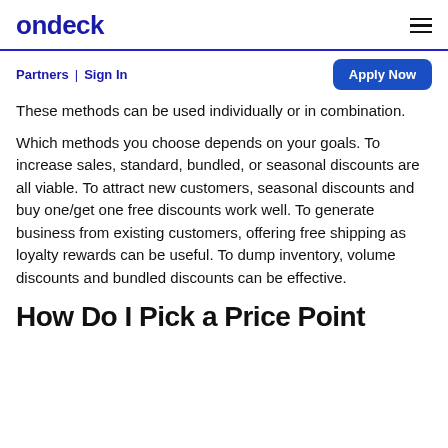ondeck
Partners | Sign In
These methods can be used individually or in combination.
Which methods you choose depends on your goals. To increase sales, standard, bundled, or seasonal discounts are all viable. To attract new customers, seasonal discounts and buy one/get one free discounts work well. To generate business from existing customers, offering free shipping as loyalty rewards can be useful. To dump inventory, volume discounts and bundled discounts can be effective.
How Do I Pick a Price Point